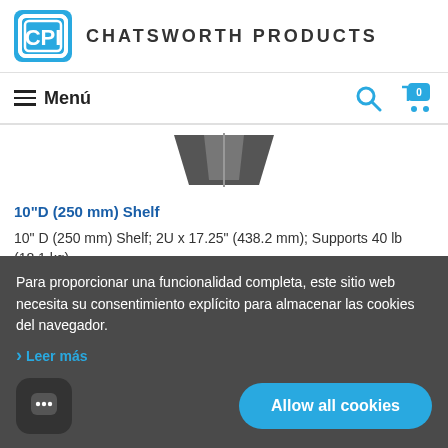[Figure (logo): Chatsworth Products (CPI) logo with blue rounded square icon and brand name text]
Menú
[Figure (photo): Partial product image of a shelf, dark grey/black color, showing top portion]
10"D (250 mm) Shelf
10" D (250 mm) Shelf; 2U x 17.25" (438.2 mm); Supports 40 lb (18.1 kg)
Para proporcionar una funcionalidad completa, este sitio web necesita su consentimiento explícito para almacenar las cookies del navegador.
Leer más
Allow all cookies